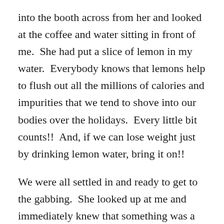into the booth across from her and looked at the coffee and water sitting in front of me.  She had put a slice of lemon in my water.  Everybody knows that lemons help to flush out all the millions of calories and impurities that we tend to shove into our bodies over the holidays.  Every little bit counts!!  And, if we can lose weight just by drinking lemon water, bring it on!!
We were all settled in and ready to get to the gabbing.  She looked up at me and immediately knew that something was a little off.  Women do that.  We have a special, ingrained sense of female esp.  We can tell when one of our girlfriends are upset about something.  She asked me what was wrong and I